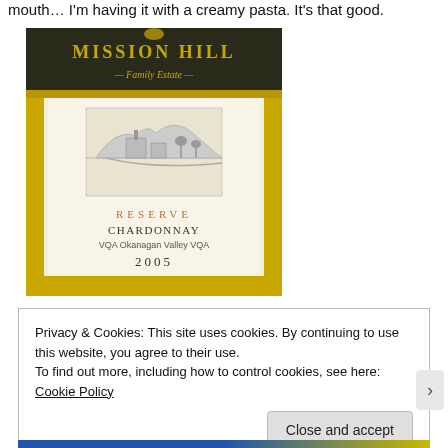mouth… I'm having it with a creamy pasta. It's that good.
[Figure (photo): Wine bottle label for Mission Hill Family Estate Reserve Chardonnay, VQA Okanagan Valley VQA, 2005. Gold and dark label with winery illustration.]
Privacy & Cookies: This site uses cookies. By continuing to use this website, you agree to their use.
To find out more, including how to control cookies, see here: Cookie Policy
Close and accept